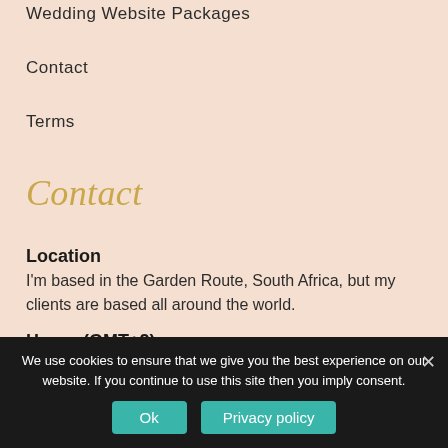Wedding Website Packages
Contact
Terms
Contact
Location
I'm based in the Garden Route, South Africa, but my clients are based all around the world.
Hours (GMT+2)
Monday–Friday: 9:00AM–5:00PM
We use cookies to ensure that we give you the best experience on our website. If you continue to use this site then you imply consent.